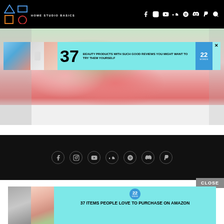HOME STUDIO BASICS — navigation header with logo shapes and social icons
[Figure (photo): Main hero image showing colorful bowls (pink, teal, green) on a white reflective surface]
[Figure (infographic): Advertisement banner: '37 BEAUTY PRODUCTS WITH SUCH GOOD REVIEWS YOU MIGHT WANT TO TRY THEM YOURSELF' — 22 Words ad with teal background, product images on left, number 37, and blue circular badge]
[Figure (infographic): Footer social media icons in circles: Facebook, Instagram, YouTube, SoundCloud, Spotify, Discord, PayPal on black background]
CLOSE
[Figure (infographic): Bottom advertisement banner: '37 ITEMS PEOPLE LOVE TO PURCHASE ON AMAZON' — 22 Words ad with teal background, images of necklace and pink dispenser product, blue circular badge with 22]